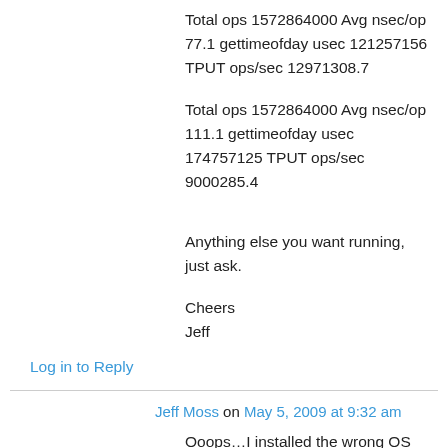Total ops 1572864000 Avg nsec/op 77.1 gettimeofday usec 121257156 TPUT ops/sec 12971308.7
Total ops 1572864000 Avg nsec/op 111.1 gettimeofday usec 174757125 TPUT ops/sec 9000285.4
Anything else you want running, just ask.
Cheers
Jeff
Log in to Reply
Jeff Moss on May 5, 2009 at 9:32 am
Ooops…I installed the wrong OS didn't I!